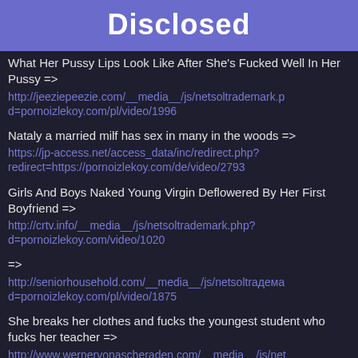Disclosed
What Her Pussy Lips Look Like After She's Fucked Well In Her Pussy =>
http://jeeziepeezie.com/__media__/js/netsoltrademark.pd=pornoizlekoy.com/pl/video/1996
Nataly a married milf has sex in many in the woods =>
https://jp-access.net/access_data/inc/redirect.php?redirect=https://pornoizlekoy.com/de/video/2793
Girls And Boys Naked Young Virgin Deflowered By Her First Boyfriend =>
http://crtv.info/__media__/js/netsoltrademark.php?d=pornoizlekoy.com/video/1020
=>
http://seniorhousehold.com/__media__/js/netsoltrademark.pd=pornoizlekoy.com/pl/video/1875
She breaks her clothes and fucks the youngest student who fucks her teacher =>
http://www.wernervonascheraden.com/__media__/js/netd=pornoizlekoy.com/de/video/426
Suck The Cock From The Goat Position And Insert It